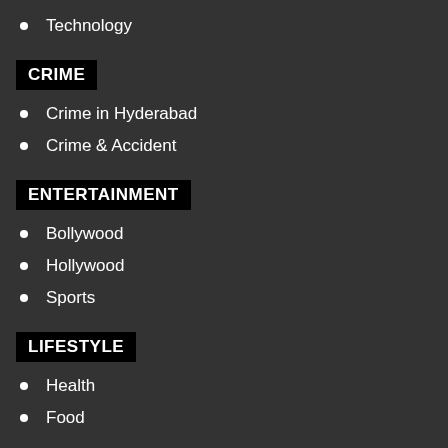Technology
CRIME
Crime in Hyderabad
Crime & Accident
ENTERTAINMENT
Bollywood
Hollywood
Sports
LIFESTYLE
Health
Food